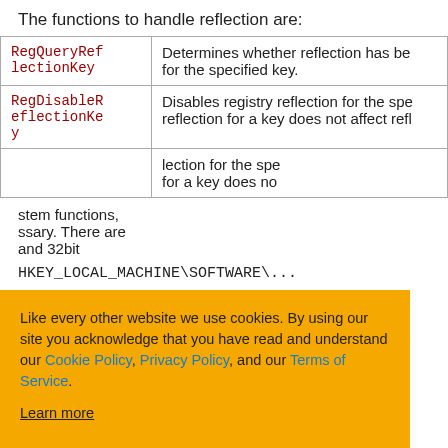The functions to handle reflection are:
| Function | Description |
| --- | --- |
| RegQueryReflectionKey | Determines whether reflection has been disabled for the specified key. |
| RegDisableReflectionKey | Disables registry reflection for the specified key. Disabling reflection for a key does not affect reflection for a key's subkeys. |
|  | lection for the specified key. Disabling reflection for a key does not... |
...stem functions, ...ssary. There are ...and 32bit
HKEY_LOCAL_MACHINE\SOFTWARE\...